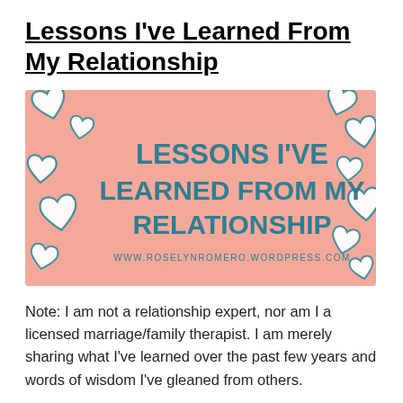Lessons I've Learned From My Relationship
[Figure (illustration): Pink banner graphic with white heart outlines scattered around the border. Center text in teal bold capitals reads 'LESSONS I'VE LEARNED FROM MY RELATIONSHIP'. Below the title text in small caps: 'WWW.ROSELYNROMERO.WORDPRESS.COM']
Note: I am not a relationship expert, nor am I a licensed marriage/family therapist. I am merely sharing what I've learned over the past few years and words of wisdom I've gleaned from others.